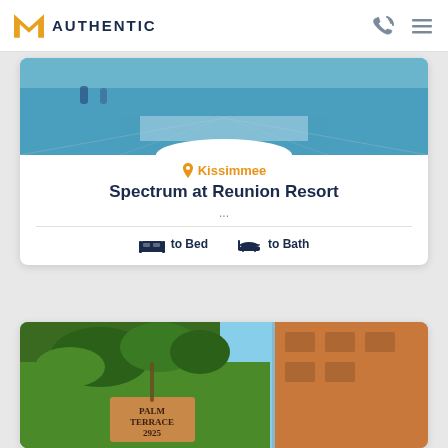M AUTHENTIC
[Figure (photo): Pool area with people swimming at Spectrum at Reunion Resort]
Kissimmee
Spectrum at Reunion Resort
...
to Bed   to Bath
[Figure (photo): Palm Terrace 2925 entrance sign with palm trees and orange building in background]